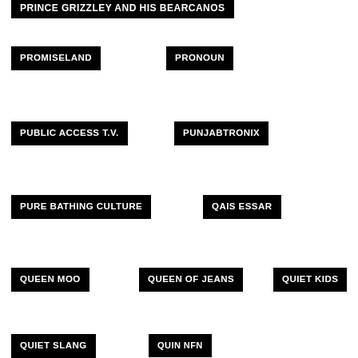PRINCE GRIZZLEY AND HIS BEARCANOS (partial)
PROMISELAND
PRONOUN
PUBLIC ACCESS T.V.
PUNJABTRONIX
PURE BATHING CULTURE
QAIS ESSAR
QUEEN MOO
QUEEN OF JEANS
QUIET KIDS
QUIET SLANG
QUIN NFN
QUIQUE ESCAMILLA
LUM.R.
RACHEL K COLLIER
RACHELE ANDRIOLI E ROCCO NIGRO
RAMESH
RAMIREZ EXPOSURE
RAMONA